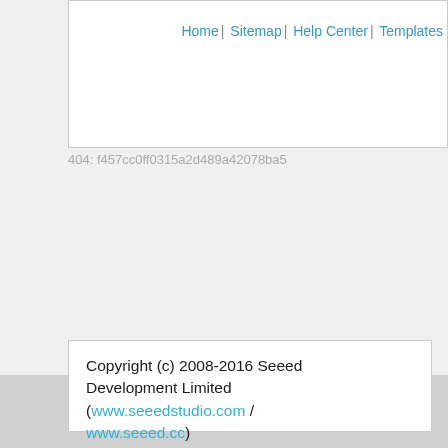Home | Sitemap | Help Center | Templates
404: f457cc0ff0315a2d489a42078ba5
Copyright (c) 2008-2016 Seeed Development Limited (www.seeedstudio.com / www.seeed.cc)
This static html page was created from http://www.seeedstudio.com/wiki